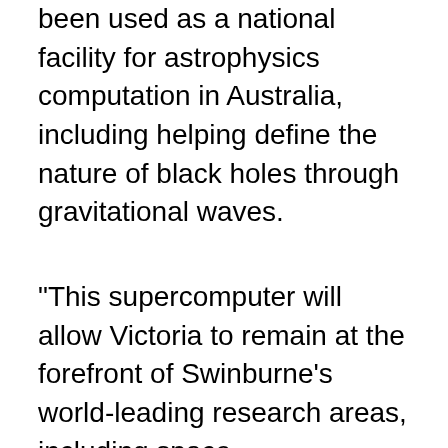been used as a national facility for astrophysics computation in Australia, including helping define the nature of black holes through gravitational waves.
"This supercomputer will allow Victoria to remain at the forefront of Swinburne's world-leading research areas, including space, sustainability, medical technology and more," Swinburne's chief scientist professor Virginia Kilborn said.